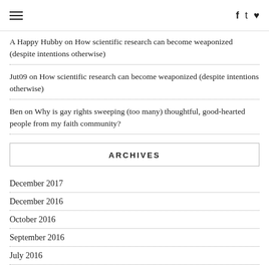[hamburger menu icon] [f] [t] [heart]
A Happy Hubby on How scientific research can become weaponized (despite intentions otherwise)
Jut09 on How scientific research can become weaponized (despite intentions otherwise)
Ben on Why is gay rights sweeping (too many) thoughtful, good-hearted people from my faith community?
ARCHIVES
December 2017
December 2016
October 2016
September 2016
July 2016